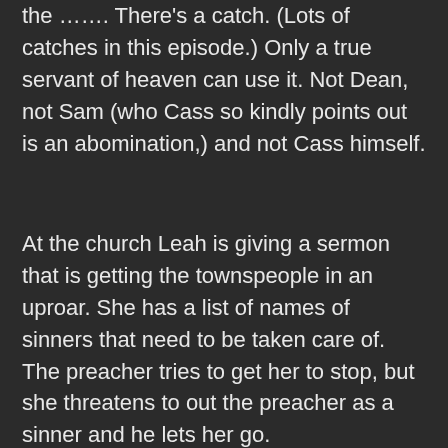the ……. There's a catch. (Lots of catches in this episode.) Only a true servant of heaven can use it. Not Dean, not Sam (who Cass so kindly points out is an abomination,) and not Cass himself.
At the church Leah is giving a sermon that is getting the townspeople in an uproar. She has a list of names of sinners that need to be taken care of. The preacher tries to get her to stop, but she threatens to out the preacher as a sinner and he lets her go.